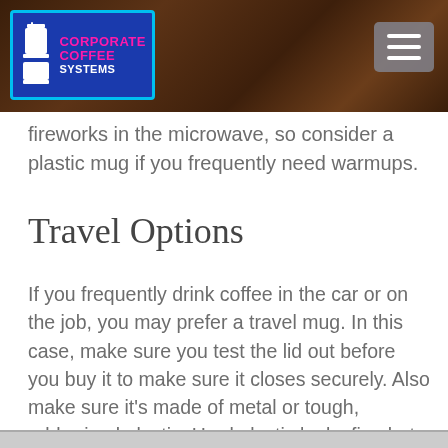Corporate Coffee Systems
fireworks in the microwave, so consider a plastic mug if you frequently need warmups.
Travel Options
If you frequently drink coffee in the car or on the job, you may prefer a travel mug. In this case, make sure you test the lid out before you buy it to make sure it closes securely. Also make sure it’s made of metal or tough, rubberized plastic. Hard plastic looks fine but can tend to crack if you drop it.